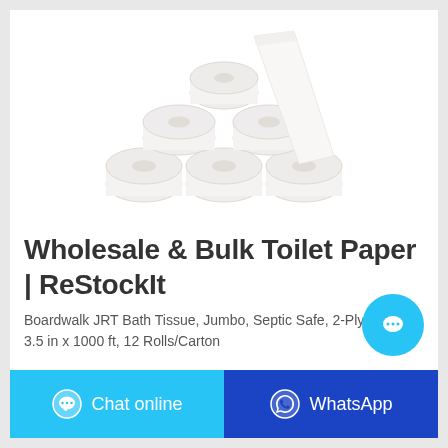[Figure (photo): Stack of white toilet paper rolls arranged in a pyramid shape with one roll leaning diagonally]
Wholesale & Bulk Toilet Paper | ReStockIt
Boardwalk JRT Bath Tissue, Jumbo, Septic Safe, 2-Ply, White, 3.5 in x 1000 ft, 12 Rolls/Carton